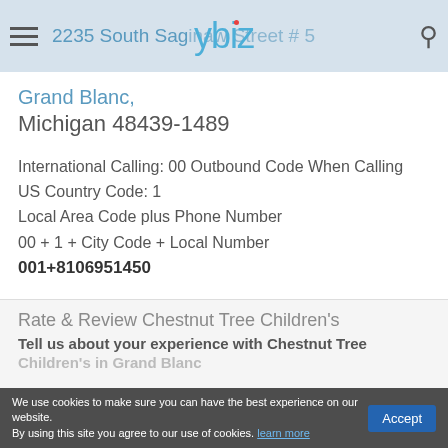2235 South Saginaw Street # 5 — ybiz logo — search icon
2235 South Saginaw Street # 5
Grand Blanc,
Michigan 48439-1489
International Calling: 00 Outbound Code When Calling
US Country Code: 1
Local Area Code plus Phone Number
00 + 1 + City Code + Local Number
001+8106951450
Rate & Review Chestnut Tree Children's
Tell us about your experience with Chestnut Tree
Children's in Grand Blanc
We use cookies to make sure you can have the best experience on our website. By using this site you agree to our use of cookies. learn more  Accept